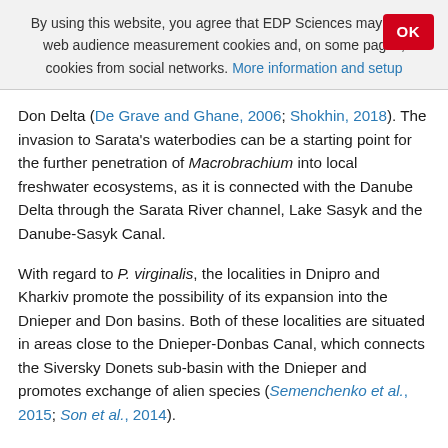By using this website, you agree that EDP Sciences may store web audience measurement cookies and, on some pages, cookies from social networks. More information and setup
Don Delta (De Grave and Ghane, 2006; Shokhin, 2018). The invasion to Sarata's waterbodies can be a starting point for the further penetration of Macrobrachium into local freshwater ecosystems, as it is connected with the Danube Delta through the Sarata River channel, Lake Sasyk and the Danube-Sasyk Canal.
With regard to P. virginalis, the localities in Dnipro and Kharkiv promote the possibility of its expansion into the Dnieper and Don basins. Both of these localities are situated in areas close to the Dnieper-Donbas Canal, which connects the Siversky Donets sub-basin with the Dnieper and promotes exchange of alien species (Semenchenko et al., 2015; Son et al., 2014).